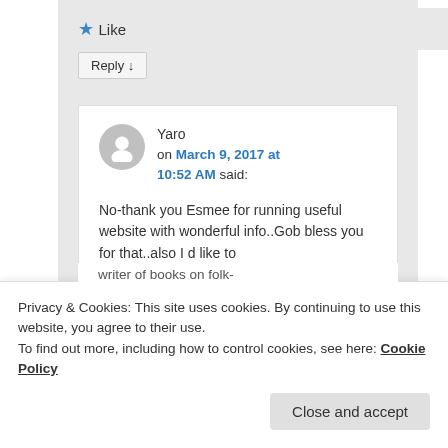★ Like
Reply ↓
Yaro on March 9, 2017 at 10:52 AM said:
No-thank you Esmee for running useful website with wonderful info..Gob bless you for that..also I d like to
Privacy & Cookies: This site uses cookies. By continuing to use this website, you agree to their use.
To find out more, including how to control cookies, see here: Cookie Policy
Close and accept
writer of books on folk-